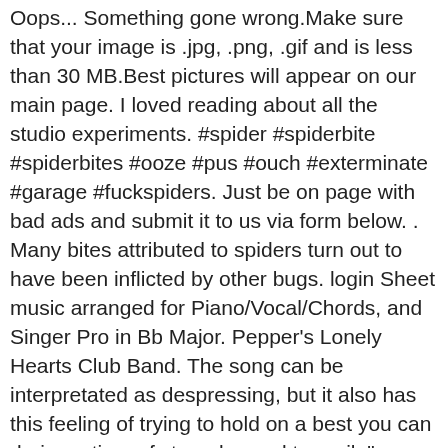Oops... Something gone wrong.Make sure that your image is .jpg, .png, .gif and is less than 30 MB.Best pictures will appear on our main page. I loved reading about all the studio experiments. #spider #spiderbite #spiderbites #ooze #pus #ouch #exterminate #garage #fuckspiders. Just be on page with bad ads and submit it to us via form below. . Many bites attributed to spiders turn out to have been inflicted by other bugs. login Sheet music arranged for Piano/Vocal/Chords, and Singer Pro in Bb Major. Pepper's Lonely Hearts Club Band. The song can be interpretated as despressing, but it also has this feeling of trying to hold on a best you can during a time of struggles and turmoil. ". 21,732. The Spiderbite Song chords by The Flaming Lips. Race for the Prize #1. The Spark That Bled #4. harmonica. [D F G C Em Am Dm] Chords for The Flaming Lips - Race For The Prize [Official Music Video] with capo transposer, play along with guitar, piano, ukulele & mandolin. The Spiderbite Song ... A great, more conventional straight uppop-song driven around piano chords. What Is the Light? The following year, the band issued a 45-minute edit of their 24-hour song "7 Skies